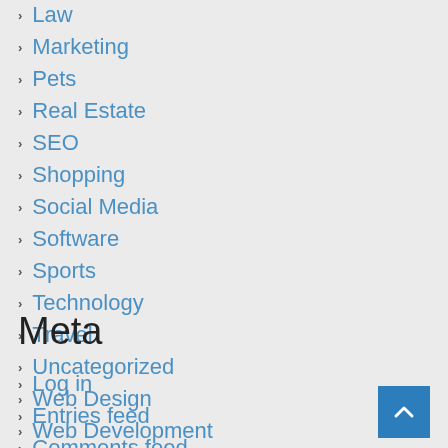Law
Marketing
Pets
Real Estate
SEO
Shopping
Social Media
Software
Sports
Technology
Travel
Uncategorized
Web Design
Web Development
Meta
Log in
Entries feed
Comments feed